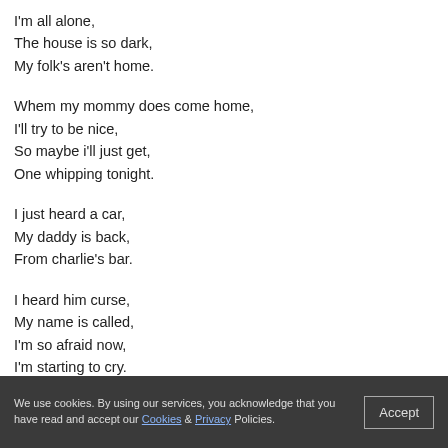I'm all alone,
The house is so dark,
My folk's aren't home.
Whem my mommy does come home,
I'll try to be nice,
So maybe i'll just get,
One whipping tonight.
I just heard a car,
My daddy is back,
From charlie's bar.
I heard him curse,
My name is called,
I'm so afraid now,
I'm starting to cry.
He finds me weeping,
Calls me ugly words,
He says its my fault,
He suffers at work.
He slaps and hits me,
And yells at me more,
I finally get free,
And run to the door...
We use cookies. By using our services, you acknowledge that you have read and accept our Cookies & Privacy Policies.